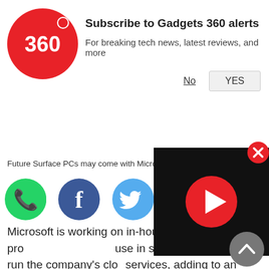[Figure (logo): Gadgets 360 red circle logo with '360' text]
Subscribe to Gadgets 360 alerts
For breaking tech news, latest reviews, and more
No
YES
Future Surface PCs may come with Microsoft in-hous...
[Figure (screenshot): Social share icons: WhatsApp (green), Facebook (blue), Twitter (light blue)]
Microsoft is working on in-house pro... use in server computers that run the company's clo... services, adding to an industrywide effort to reduce
[Figure (screenshot): Black video player with red play button]
[Figure (other): Red circle with white X close button]
[Figure (other): Grey scroll-to-top button with white chevron]